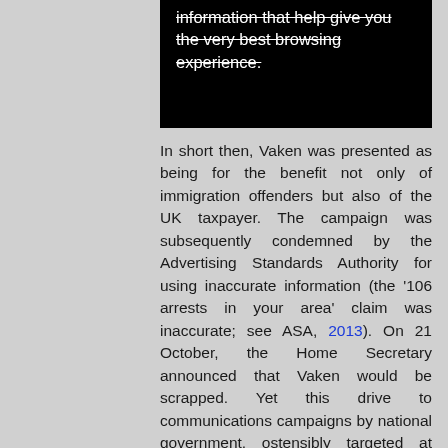information that help give you the very best browsing experience.
In short then, Vaken was presented as being for the benefit not only of immigration offenders but also of the UK taxpayer. The campaign was subsequently condemned by the Advertising Standards Authority for using inaccurate information (the '106 arrests in your area' claim was inaccurate; see ASA, 2013). On 21 October, the Home Secretary announced that Vaken would be scrapped. Yet this drive to communications campaigns by national government, ostensibly targeted at immigration offenders but with an audience of the law-abiding and taxpaying public in mind, continued. This extended to similar measures over the following years, including an